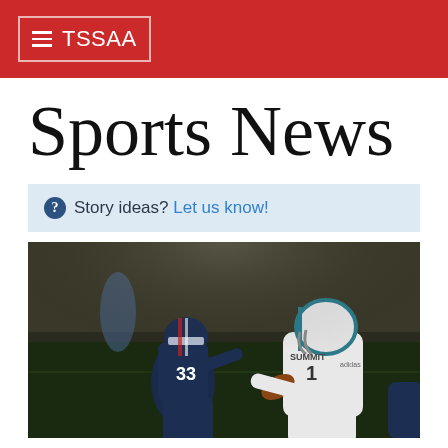TSSAA
Sports News
Story ideas? Let us know!
[Figure (photo): High school football game action shot: a quarterback in white Summit jersey (#1) scrambles while a defender in navy #33 jersey attempts a tackle under stadium lights]